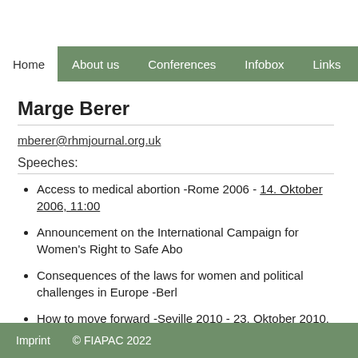Home | About us | Conferences | Infobox | Links
Marge Berer
mberer@rhmjournal.org.uk
Speeches:
Access to medical abortion -Rome 2006 - 14. Oktober 2006, 11:00
Announcement on the International Campaign for Women's Right to Safe Abo...
Consequences of the laws for women and political challenges in Europe -Berl...
How to move forward -Seville 2010 - 23. Oktober 2010, 05:30
Imprint   © FIAPAC 2022